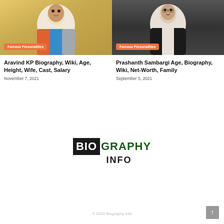[Figure (photo): Photo of Aravind KP with orange badge 'Famous Personalities']
Aravind KP Biography, Wiki, Age, Height, Wife, Cast, Salary
November 7, 2021
[Figure (photo): Photo of Prashanth Sambargi with orange badge 'Famous Personalities']
Prashanth Sambargi Age, Biography, Wiki, Net-Worth, Family
September 5, 2021
[Figure (logo): BiographyInfo logo in black and dark green]
© 2022 Biography Info